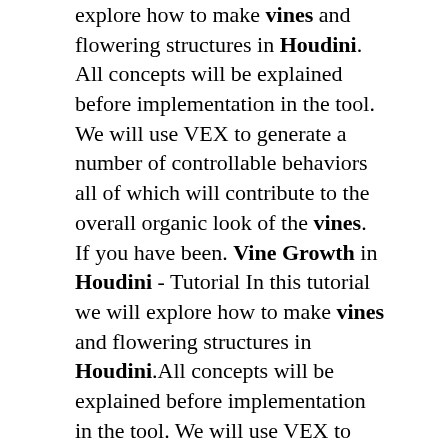explore how to make vines and flowering structures in Houdini. All concepts will be explained before implementation in the tool. We will use VEX to generate a number of controllable behaviors all of which will contribute to the overall organic look of the vines. If you have been. Vine Growth in Houdini - Tutorial In this tutorial we will explore how to make vines and flowering structures in Houdini.All concepts will be explained before implementation in the tool. We will use VEX to generate a number of controllable behaviors all of which will contribute to the overall organic look of the vines.Rohan Dalvi demonstrates an easy way to create growing vines and ivy type of. Jul 27, 2022 · Plant taxonomy. Taxonomy (or systematics): The science of classifying organisms. Classification: A grouping of plants according to shared qualities or characteristics.